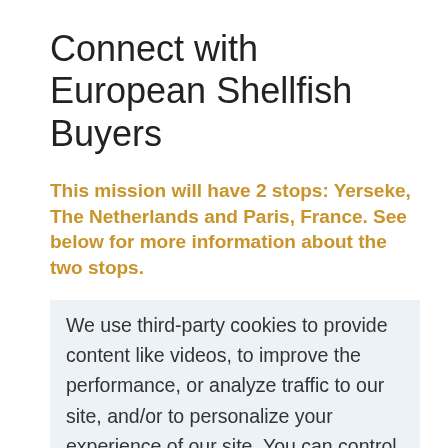Connect with European Shellfish Buyers
This mission will have 2 stops: Yerseke, The Netherlands and Paris, France. See below for more information about the two stops.
Yerseke, The Netherlands
Yerseke, situated in the southwest province of The Netherlands known as Zeeland, has a considerable history of growing mussels and oysters. The companies situated here specialize in shellfish aquaculture, the importation of shellfish and crustaceans, and managing a vast European distribution network that quickly moves fresh seafood
We use third-party cookies to provide content like videos, to improve the performance, or analyze traffic to our site, and/or to personalize your experience of our site. You can control the use of cookies through your browser's settings. Please find more information on the cookies used on our site: Learn more